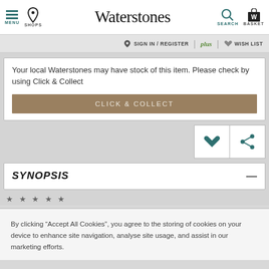MENU  SHOPS  Waterstones  SEARCH  BASKET
SIGN IN / REGISTER  plus  WISH LIST
Your local Waterstones may have stock of this item. Please check by using Click & Collect
CLICK & COLLECT
SYNOPSIS
★ ★ ★ ★ ★
By clicking “Accept All Cookies”, you agree to the storing of cookies on your device to enhance site navigation, analyse site usage, and assist in our marketing efforts.